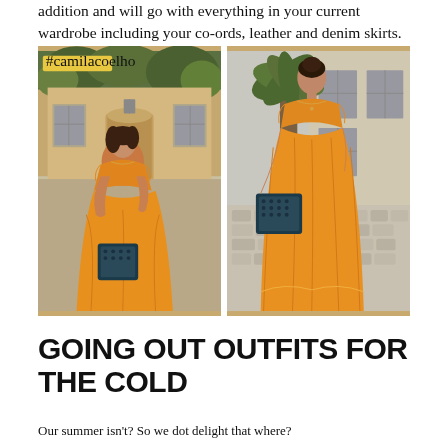addition and will go with everything in your current wardrobe including your co-ords, leather and denim skirts.
[Figure (photo): Two side-by-side photos of a woman wearing an orange off-shoulder maxi dress with a dark blue/teal Dior bag, posed in front of a French chateau/stone building exterior. Left photo shows a closer shot with a hashtag badge overlay (#camilacoelho). Right photo shows a full-length shot on cobblestone ground with a palm tree and building in background.]
GOING OUT OUTFITS FOR THE COLD
Our summer isn't? So we dot delight that where?